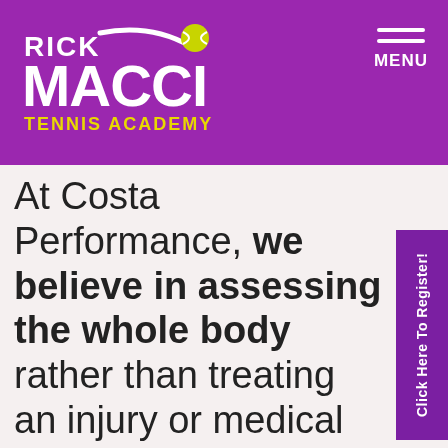[Figure (logo): Rick Macci Tennis Academy logo on purple background with white text and yellow tennis ball]
At Costa Performance, we believe in assessing the whole body rather than treating an injury or medical issue in isolation. That's why we offer an extensive range of services to help improve movement and function. Read on to find out more.
Click Here To Register!